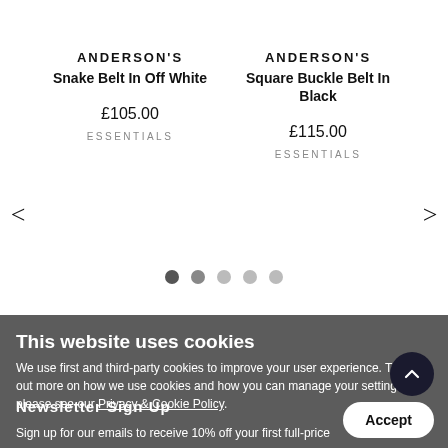ANDERSON'S
Snake Belt In Off White
£105.00
ESSENTIALS
ANDERSON'S
Square Buckle Belt In Black
£115.00
ESSENTIALS
This website uses cookies
We use first and third-party cookies to improve your user experience. To find out more on how we use cookies and how you can manage your settings, please see our Privacy & Cookie Policy.
Newsletter Sign Up
Sign up for our emails to receive 10% off your first full-price